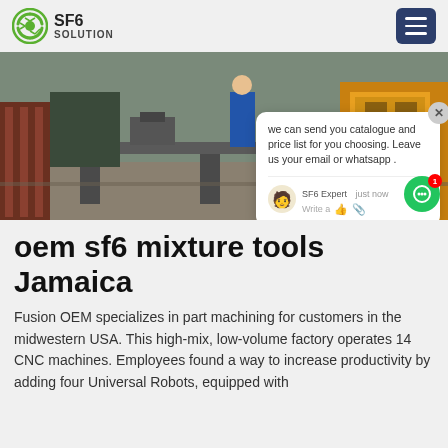SF6 SOLUTION
[Figure (photo): Industrial outdoor photo showing heavy machinery, yellow equipment, and construction area with a worker in blue clothing visible in background.]
oem sf6 mixture tools Jamaica
Fusion OEM specializes in part machining for customers in the midwestern USA. This high-mix, low-volume factory operates 14 CNC machines. Employees found a way to increase productivity by adding four Universal Robots, equipped with